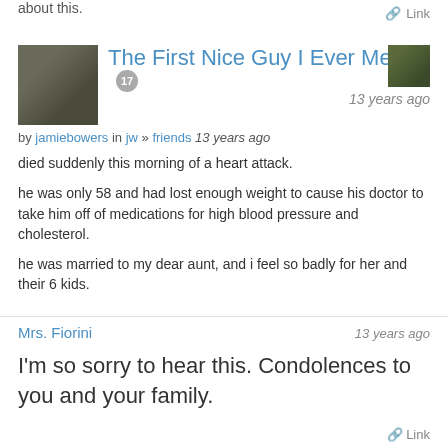about this.
Link
The First Nice Guy I Ever Met...
17
13 years ago
by jamiebowers in jw » friends 13 years ago
died suddenly this morning of a heart attack.
he was only 58 and had lost enough weight to cause his doctor to take him off of medications for high blood pressure and cholesterol.
he was married to my dear aunt, and i feel so badly for her and their 6 kids.
Mrs. Fiorini
13 years ago
I'm so sorry to hear this. Condolences to you and your family.
Link